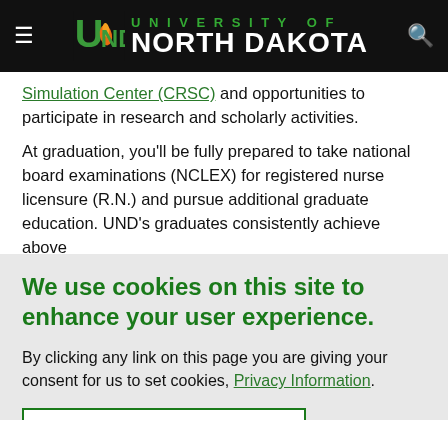University of North Dakota
Simulation Center (CRSC) and opportunities to participate in research and scholarly activities.
At graduation, you'll be fully prepared to take national board examinations (NCLEX) for registered nurse licensure (R.N.) and pursue additional graduate education. UND's graduates consistently achieve above
We use cookies on this site to enhance your user experience.
By clicking any link on this page you are giving your consent for us to set cookies, Privacy Information.
I AGREE